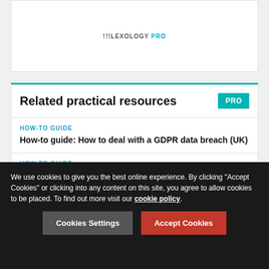[Figure (logo): Lexology PRO logo text]
Related practical resources
HOW-TO GUIDE
How-to guide: How to deal with a GDPR data breach (UK)
HOW-TO GUIDE
How-to guide: How to ensure compliance with the GDPR (UK)
HOW-TO GUIDE
How-to guide: How to deal with an ICO dawn raid (UK)
We use cookies to give you the best online experience. By clicking "Accept Cookies" or clicking into any content on this site, you agree to allow cookies to be placed. To find out more visit our cookie policy.